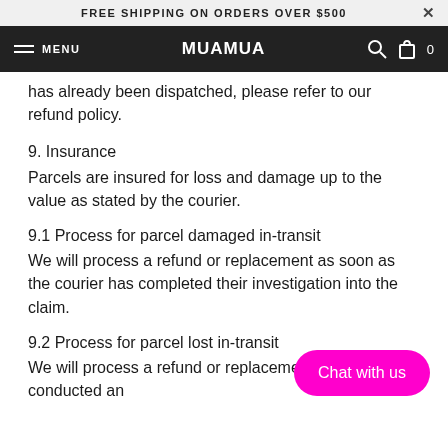FREE SHIPPING ON ORDERS OVER $500
MENU  MUAMUA  0
has already been dispatched, please refer to our refund policy.
9. Insurance
Parcels are insured for loss and damage up to the value as stated by the courier.
9.1 Process for parcel damaged in-transit
We will process a refund or replacement as soon as the courier has completed their investigation into the claim.
9.2 Process for parcel lost in-transit
We will process a refund or replacement courier has conducted an